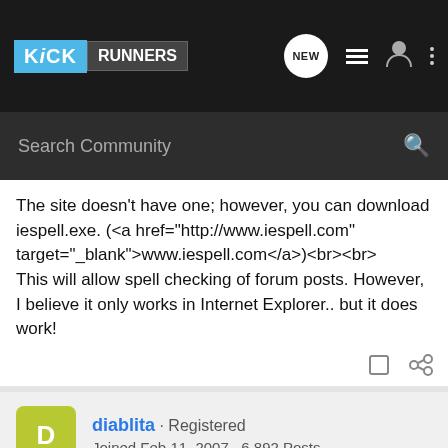KICK RUNNERS — nav bar with search
The site doesn't have one; however, you can download iespell.exe. (<a href="http://www.iespell.com" target="_blank">www.iespell.com</a>)<br><br>This will allow spell checking of forum posts. However, I believe it only works in Internet Explorer.. but it does work!
diablita · Registered
Joined Feb 11, 2007 · 6,892 Posts
#7 · Apr 30, 2007
glad that helped! if you hit the down arrow next to the name of the last poster, it takes you directly to the last post. But the